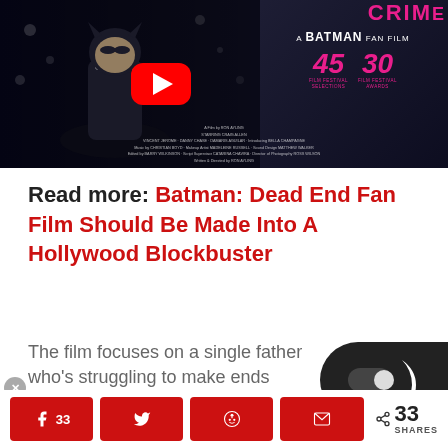[Figure (screenshot): Batman fan film video thumbnail showing Batman character in dark costume with YouTube play button overlay. Text shows 'A BATMAN FAN FILM' with 45 Film Festival Selections and 30 Film Festival Awards badges in pink. Film credits listed at bottom.]
Read more: Batman: Dead End Fan Film Should Be Made Into A Hollywood Blockbuster
The film focuses on a single father who's struggling to make ends meet and b...
AI Advertising
33 SHARES